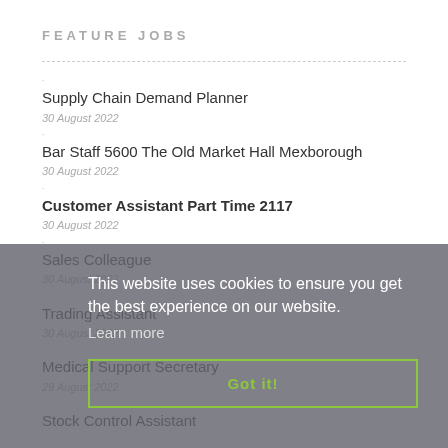FEATURE JOBS
Supply Chain Demand Planner
30 August 2022
Bar Staff 5600 The Old Market Hall Mexborough
30 August 2022
Customer Assistant Part Time 2117
30 August 2022
Sales Colleague
30 August 2022
Trading Assistant
30 August 2022
Medical Support Secretary
29 August 2022
Stock Control Assistant
This website uses cookies to ensure you get the best experience on our website.
Learn more
Got it!